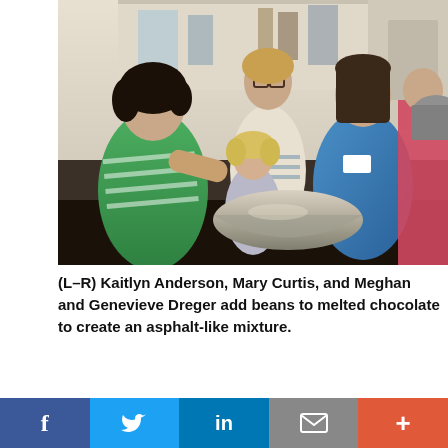[Figure (photo): Four children and an adult around a metal mixing bowl adding beans to melted chocolate to create an asphalt-like mixture. Children are in a kitchen/lab setting. One child in green striped shirt on left, one in glasses behind, one small child in the center, and one in a blue shirt on the right.]
(L–R) Kaitlyn Anderson, Mary Curtis, and Meghan and Genevieve Dreger add beans to melted chocolate to create an asphalt-like mixture.
[Figure (photo): Close-up of laboratory or engineering equipment — cylindrical metal objects and flat material in what appears to be a testing apparatus.]
[Figure (infographic): Social media sharing bar with Facebook, Twitter, LinkedIn, email and more buttons.]